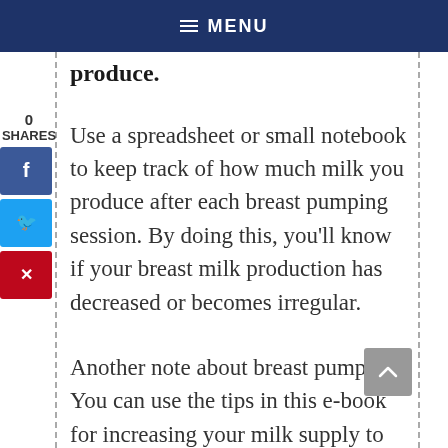MENU
produce.
Use a spreadsheet or small notebook to keep track of how much milk you produce after each breast pumping session. By doing this, you’ll know if your breast milk production has decreased or becomes irregular.
Another note about breast pumping: You can use the tips in this e-book for increasing your milk supply to help you